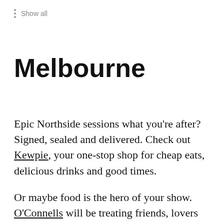Show all
Melbourne
Epic Northside sessions what you're after? Signed, sealed and delivered. Check out Kewpie, your one-stop shop for cheap eats, delicious drinks and good times.
Or maybe food is the hero of your show. O'Connells will be treating friends, lovers and strangers to 5 courses of pure indulgence. From Duck a L'orange to a Roasted Beef Fillet, you'll be living food heaven in South